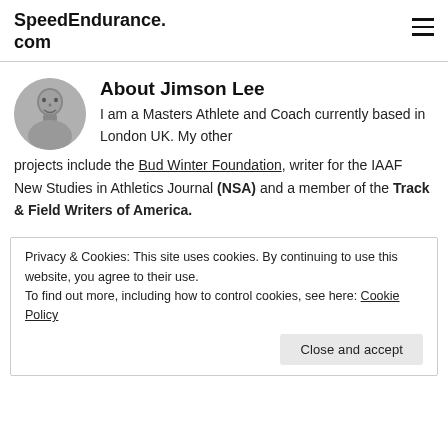SpeedEndurance.com
About Jimson Lee
I am a Masters Athlete and Coach currently based in London UK. My other projects include the Bud Winter Foundation, writer for the IAAF New Studies in Athletics Journal (NSA) and a member of the Track & Field Writers of America.
Privacy & Cookies: This site uses cookies. By continuing to use this website, you agree to their use.
To find out more, including how to control cookies, see here: Cookie Policy
Close and accept